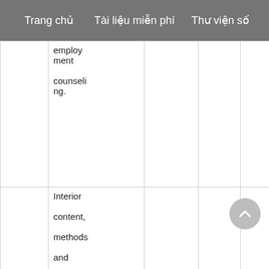Trang chủ    Tài liệu miễn phí    Thư viện số
|  | employment counseling. |  |  |  |
| 5 | Interior content, methods and forms of organizing activities dynamic career |  |  | . |